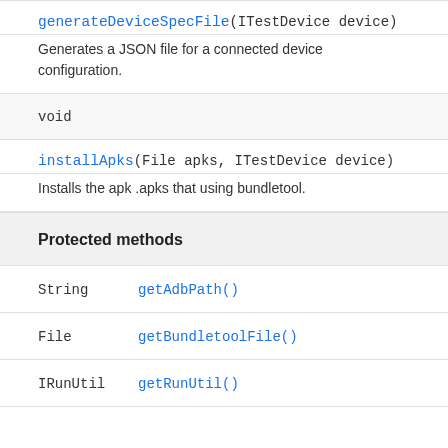generateDeviceSpecFile(ITestDevice device)
Generates a JSON file for a connected device configuration.
void
installApks(File apks, ITestDevice device)
Installs the apk .apks that using bundletool.
Protected methods
String   getAdbPath()
File   getBundletoolFile()
IRunUtil   getRunUtil()